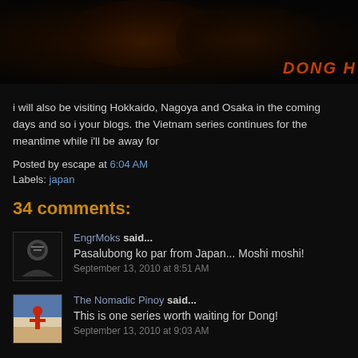[Figure (photo): Dark header image showing what appears to be motorcycle or similar objects with 'DONG H' text overlay in orange italic font]
i will also be visiting Hokkaido, Nagoya and Osaka in the coming days and so i your blogs. the Vietnam series continues for the meantime while i'll be away for
Posted by escape at 6:04 AM
Labels: japan
34 comments:
EngrMoks said...
Pasalubong ko par from Japan... Moshi moshi!
September 13, 2010 at 8:51 AM
The Nomadic Pinoy said...
This is one series worth waiting for Dong!
September 13, 2010 at 9:03 AM